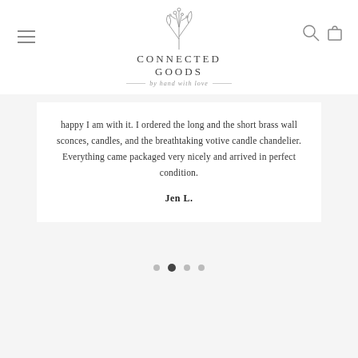[Figure (logo): Connected Goods logo with botanical illustration of dried flowers/herbs above the text 'CONNECTED GOODS' and italic subtitle 'by hand with love' with decorative lines on either side]
happy I am with it. I ordered the long and the short brass wall sconces, candles, and the breathtaking votive candle chandelier. Everything came packaged very nicely and arrived in perfect condition.
Jen L.
[Figure (other): Carousel pagination dots: four dots where the second dot is filled/active (dark) and the others are light grey]